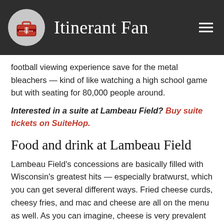Itinerant Fan
football viewing experience save for the metal bleachers — kind of like watching a high school game but with seating for 80,000 people around.
Interested in a suite at Lambeau Field? Buy suite tickets on SuiteHop.
Food and drink at Lambeau Field
Lambeau Field's concessions are basically filled with Wisconsin's greatest hits — especially bratwurst, which you can get several different ways. Fried cheese curds, cheesy fries, and mac and cheese are all on the menu as well. As you can imagine, cheese is very prevalent at the concession stands.
You can also find more adventurous items like elk stroganoff,